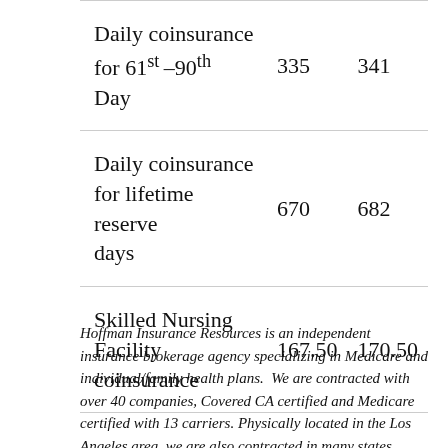|  |  |  |
| --- | --- | --- |
| Daily coinsurance for 61st–90th Day | 335 | 341 |
| Daily coinsurance for lifetime reserve days | 670 | 682 |
| Skilled Nursing Facility coinsurance | 167.50 | 170.50 |
Hoffman Insurance Resources is an independent insurance brokerage agency specializing in Medicare and individual/family health plans. We are contracted with over 40 companies, Covered CA certified and Medicare certified with 13 carriers. Physically located in the Los Angeles area, we are also contracted in many states throughout the country. We pride ourselves on giving a better right